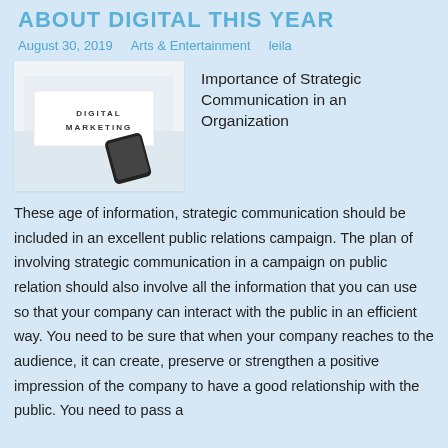ABOUT DIGITAL THIS YEAR
August 30, 2019   Arts & Entertainment   leila
[Figure (photo): Image showing a desk with text 'DIGITAL MARKETING' printed on cards and a smartphone]
Importance of Strategic Communication in an Organization
These age of information, strategic communication should be included in an excellent public relations campaign. The plan of involving strategic communication in a campaign on public relation should also involve all the information that you can use so that your company can interact with the public in an efficient way. You need to be sure that when your company reaches to the audience, it can create, preserve or strengthen a positive impression of the company to have a good relationship with the public. You need to pass a